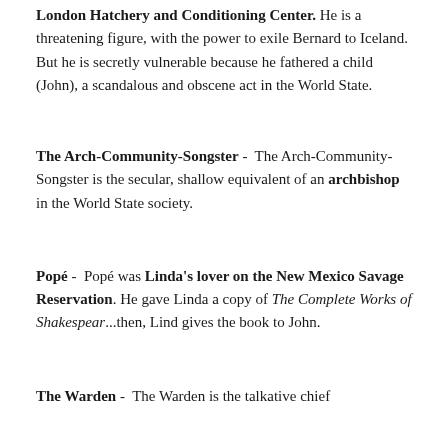London Hatchery and Conditioning Center. He is a threatening figure, with the power to exile Bernard to Iceland. But he is secretly vulnerable because he fathered a child (John), a scandalous and obscene act in the World State.
The Arch-Community-Songster - The Arch-Community-Songster is the secular, shallow equivalent of an archbishop in the World State society.
Popé - Popé was Linda's lover on the New Mexico Savage Reservation. He gave Linda a copy of The Complete Works of Shakespear...then, Lind gives the book to John.
The Warden - The Warden is the talkative chief